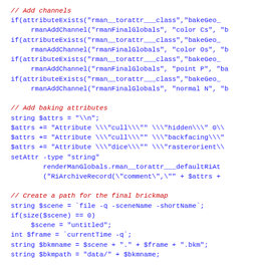// Add channels
if(attributeExists("rman__torattr___class","bakeGeo_
    rmanAddChannel("rmanFinalGlobals", "color Cs", "b
if(attributeExists("rman__torattr___class","bakeGeo_
    rmanAddChannel("rmanFinalGlobals", "color Os", "b
if(attributeExists("rman__torattr___class","bakeGeo_
    rmanAddChannel("rmanFinalGlobals", "point P", "ba
if(attributeExists("rman__torattr___class","bakeGeo_
    rmanAddChannel("rmanFinalGlobals", "normal N", "b
// Add baking attributes
string $attrs = "\\n";
$attrs += "Attribute \\\"cull\\\"" \\\"hidden\\\" 0\\
attrs += "Attribute \\\"cull\\\"" \\\"backfacing\\\"
$attrs += "Attribute \\\"dice\\\"" \\\"rasterorient\\
setAttr -type "string"
        renderManGlobals.rman__torattr___defaultRiAt
        ("RiArchiveRecord(\"comment\",\"" + $attrs +
// Create a path for the final brickmap
string $scene = `file -q -sceneName -shortName`;
if(size($scene) == 0)
    $scene = "untitled";
int $frame = `currentTime -q`;
string $bkmname = $scene + "." + $frame + ".bkm";
string $bkmpath = "data/" + $bkmname;
// Create the brickmake command
string $cmd = "\\n";